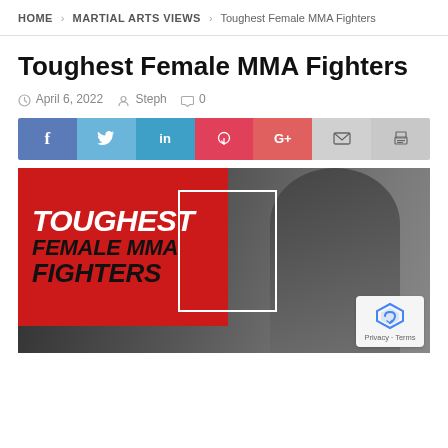HOME > MARTIAL ARTS VIEWS > Toughest Female MMA Fighters
Toughest Female MMA Fighters
April 6, 2022  Steph  0
[Figure (infographic): Social share bar with Facebook, Twitter, LinkedIn, Pinterest, Google+, Email, and Print buttons]
[Figure (photo): Hero image showing a female MMA fighter wrapping hands, with red overlay box reading TOUGHEST FEMALE MMA FIGHTERS in bold italic text, and a white rectangle outline. A reCAPTCHA badge with Privacy and Terms text is visible in the bottom-right corner.]